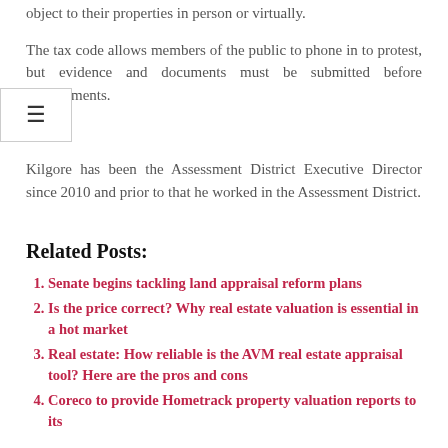object to their properties in person or virtually.
The tax code allows members of the public to phone in to protest, but evidence and documents must be submitted before appointments.
Kilgore has been the Assessment District Executive Director since 2010 and prior to that he worked in the Assessment District.
Related Posts:
Senate begins tackling land appraisal reform plans
Is the price correct? Why real estate valuation is essential in a hot market
Real estate: How reliable is the AVM real estate appraisal tool? Here are the pros and cons
Coreco to provide Hometrack property valuation reports to its